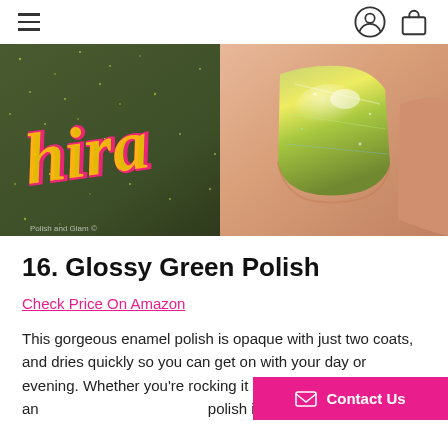Navigation header with hamburger menu and icons
[Figure (photo): Close-up photo of a hand with holographic green/gold glitter nail polish applied, with a nail polish bottle label partially visible showing colorful script text on a dark glittery background.]
16. Glossy Green Polish
Check Price On Amazon
This gorgeous enamel polish is opaque with just two coats, and dries quickly so you can get on with your day or evening. Whether you're rocking it on its own or using it as an polish is sure to turn heads.